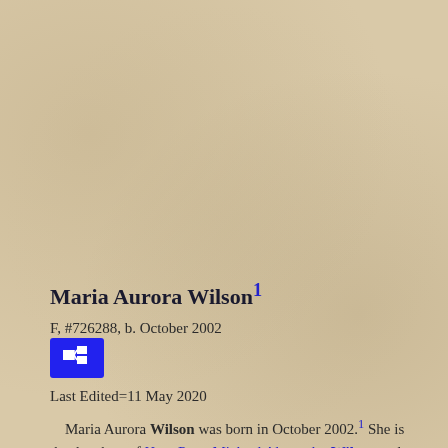Maria Aurora Wilson1
F, #726288, b. October 2002
Last Edited=11 May 2020
Maria Aurora Wilson was born in October 2002.1 She is the daughter of Hon. Peter Michael Alexander Wilson and